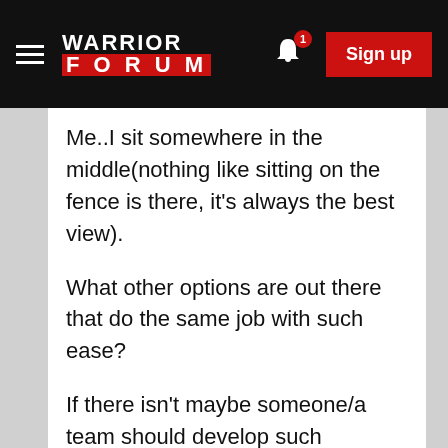Warrior Forum — Sign up
Me..I sit somewhere in the middle(nothing like sitting on the fence is there, it's always the best view).
What other options are out there that do the same job with such ease?
If there isn't maybe someone/a team should develop such software.
I've got an email from the SEnuke team stating the reason for there